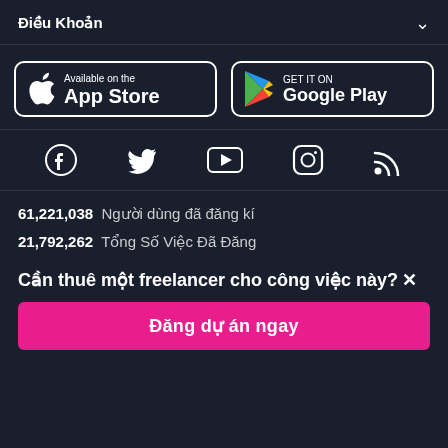Điều Khoản
[Figure (logo): App Store and Google Play download buttons]
[Figure (infographic): Social media icons: Facebook, Twitter, YouTube, Instagram, RSS]
61,221,038  Người dùng đã đăng kí
21,792,262  Tổng Số Việc Đã Đăng
Cần thuê một freelancer cho công việc này? ×
Đăng dự án ngay